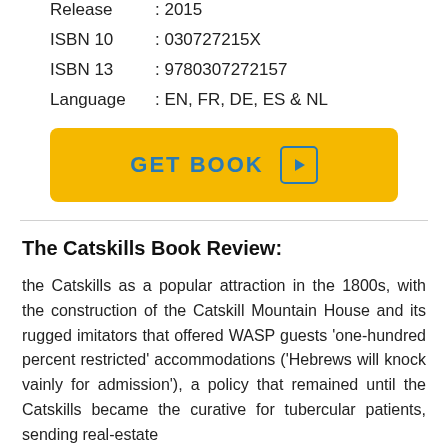Release : 2015
ISBN 10 : 030727215X
ISBN 13 : 9780307272157
Language : EN, FR, DE, ES & NL
[Figure (other): GET BOOK button with play icon, yellow background]
The Catskills Book Review:
the Catskills as a popular attraction in the 1800s, with the construction of the Catskill Mountain House and its rugged imitators that offered WASP guests 'one-hundred percent restricted' accommodations ('Hebrews will knock vainly for admission'), a policy that remained until the Catskills became the curative for tubercular patients, sending real-estate